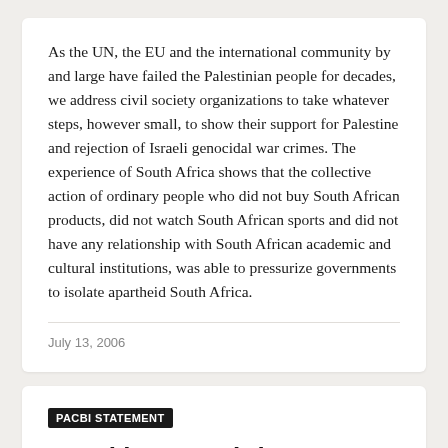As the UN, the EU and the international community by and large have failed the Palestinian people for decades, we address civil society organizations to take whatever steps, however small, to show their support for Palestine and rejection of Israeli genocidal war crimes. The experience of South Africa shows that the collective action of ordinary people who did not buy South African products, did not watch South African sports and did not have any relationship with South African academic and cultural institutions, was able to pressurize governments to isolate apartheid South Africa.
July 13, 2006
PACBI STATEMENT
Israel is Committing War Crimes in Gaza with Impunity--High Time for Pr...